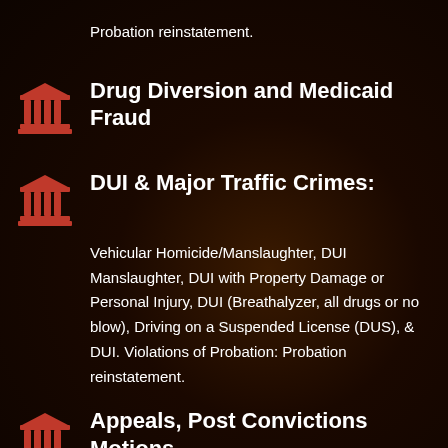Probation reinstatement.
[Figure (illustration): Red courthouse/pillars icon]
Drug Diversion and Medicaid Fraud
[Figure (illustration): Red courthouse/pillars icon]
DUI & Major Traffic Crimes:
Vehicular Homicide/Manslaughter, DUI Manslaughter, DUI with Property Damage or Personal Injury, DUI (Breathalyzer, all drugs or no blow), Driving on a Suspended License (DUS), & DUI. Violations of Probation: Probation reinstatement.
[Figure (illustration): Red courthouse/pillars icon]
Appeals, Post Convictions Motions